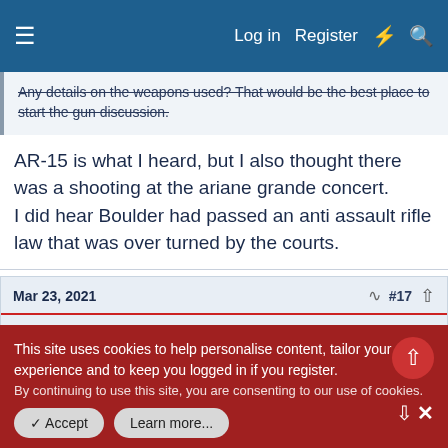Log in  Register
Any details on the weapons used? That would be the best place to start the gun discussion.
AR-15 is what I heard, but I also thought there was a shooting at the ariane grande concert.
I did hear Boulder had passed an anti assault rifle law that was over turned by the courts.
Mar 23, 2021  #17
wardorican
Well-known member
This site uses cookies to help personalise content, tailor your experience and to keep you logged in if you register.
By continuing to use this site, you are consenting to our use of cookies.